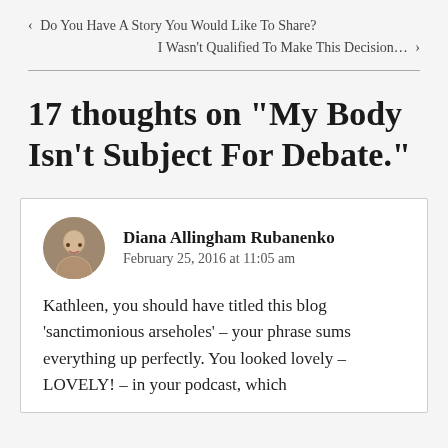‹ Do You Have A Story You Would Like To Share?
I Wasn't Qualified To Make This Decision… ›
17 thoughts on “My Body Isn’t Subject For Debate.”
Diana Allingham Rubanenko
February 25, 2016 at 11:05 am
Kathleen, you should have titled this blog ‘sanctimonious arseholes’ – your phrase sums everything up perfectly. You looked lovely – LOVELY! – in your podcast, which